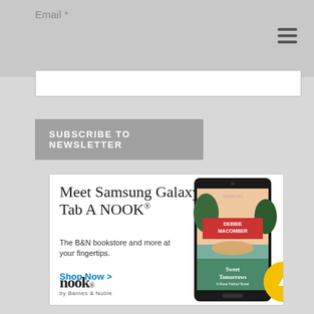Email *
SUBSCRIBE TO NEWSLETTER
[Figure (screenshot): Advertisement for Samsung Galaxy Tab A NOOK by Barnes & Noble showing a tablet with a book cover 'Sweet Tomorrows' by Debbie Macomber. Text: 'Meet Samsung Galaxy Tab A NOOK® The B&N bookstore and more at your fingertips. Shop Now >' with nook by Barnes & Noble logo.]